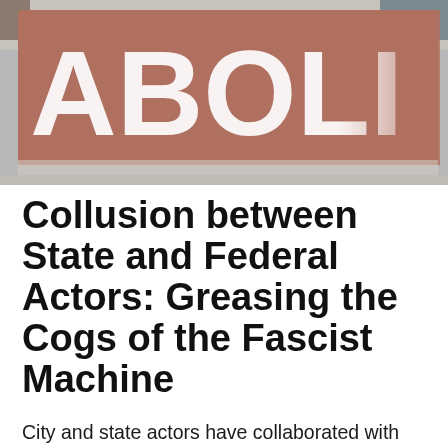[Figure (photo): A protest sign with large white letters spelling 'ABOLI...' (partially visible) on a reddish-brown background, being carried at what appears to be an outdoor demonstration.]
Collusion between State and Federal Actors: Greasing the Cogs of the Fascist Machine
City and state actors have collaborated with federal institutions like Homeland Security and ICE. This advances the aims of authoritarianism. We need to develop a widespread hostility to policing efforts, both those of state agents and the moral, political, and tactical policing of individuals who think they